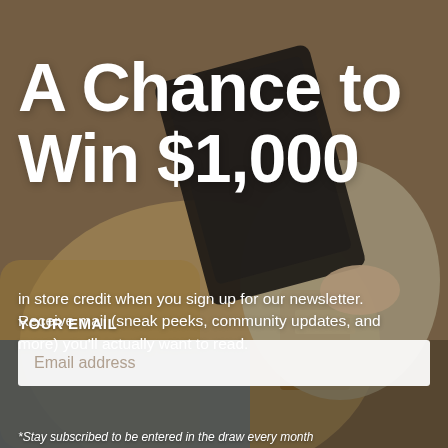[Figure (photo): Background photo of a person sitting in a chair using a tablet, warm brown/tan tones]
A Chance to Win $1,000
in store credit when you sign up for our newsletter. Receive mail (sneak peeks, community updates, and more) you'll actually want to read.
YOUR EMAIL
Email address
*Stay subscribed to be entered in the draw every month